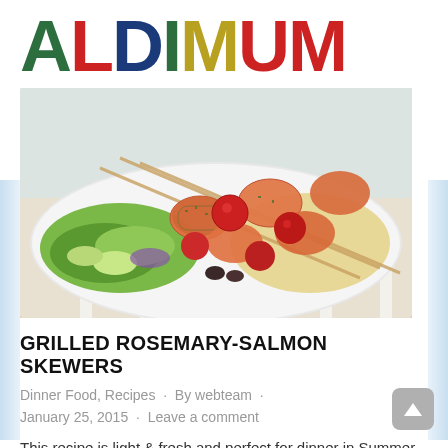ALDIMUM
[Figure (photo): Grilled rosemary-salmon skewers on a white plate with cherry tomatoes, green salad, and couscous, served on a white wooden table]
GRILLED ROSEMARY-SALMON SKEWERS
Dinner Food, Recipes · By webteam · January 25, 2015 · Leave a comment
This recipe is light & fresh and perfect for dinner in Summer. Ingredients 500g Almare Salmon Fillets...